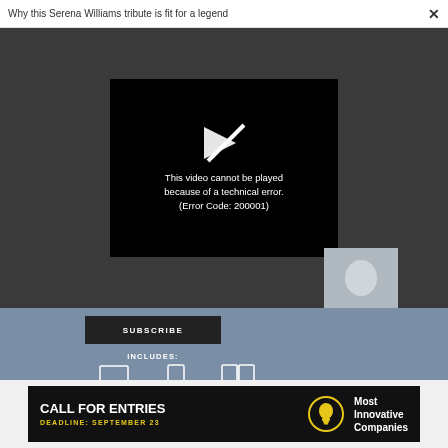Why this Serena Williams tribute is fit for a legend   ×
[Figure (screenshot): Video player error screen on dark background. Shows a broken play icon and text: 'This video cannot be played because of a technical error. (Error Code: 200001)']
[Figure (screenshot): Subscribe banner with dark button labeled SUBSCRIBE, INCLUDES: label, and three icons for WEBSITE, APP, MAGAZINE on blue-grey background. A person in a white turtleneck is visible on the right.]
[Figure (infographic): Black advertisement banner: CALL FOR ENTRIES, DEADLINE: SEPTEMBER 23, with a lightbulb icon and text 'Most Innovative Companies']